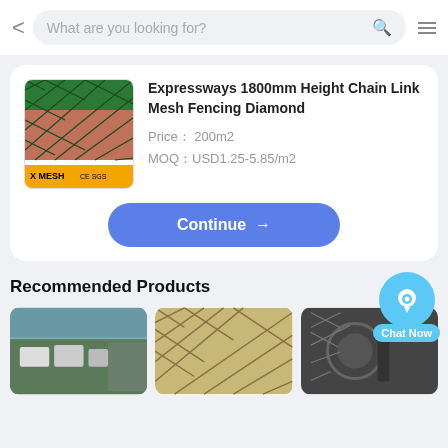What are you looking for?
Expressways 1800mm Height Chain Link Mesh Fencing Diamond
Price： 200m2
MOQ：USD1.25-5.85/m2
Continue →
Recommended Products
[Figure (photo): Chain link mesh fencing product image with X MESH branding]
[Figure (photo): Recommended product 1: rolls of fencing material on truck]
[Figure (photo): Recommended product 2: chain link mesh fencing installed]
[Figure (photo): Recommended product 3: chain link mesh fence post detail]